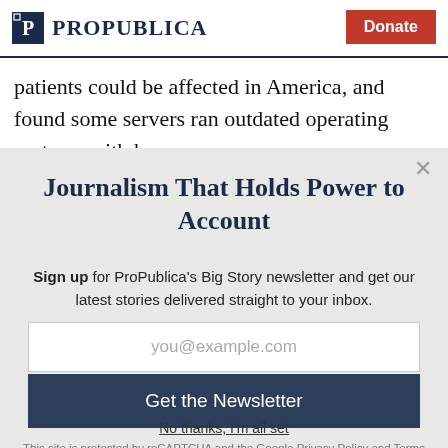ProPublica | Donate
patients could be affected in America, and found some servers ran outdated operating systems with known
Journalism That Holds Power to Account
Sign up for ProPublica's Big Story newsletter and get our latest stories delivered straight to your inbox.
you@example.com
Get the Newsletter
No thanks, I'm all set
This site is protected by reCAPTCHA and the Google Privacy Policy and Terms of Service apply.